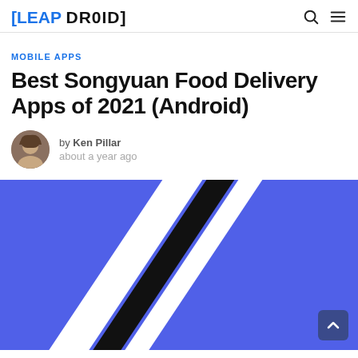[LEAP DROID]
MOBILE APPS
Best Songyuan Food Delivery Apps of 2021 (Android)
by Ken Pillar about a year ago
[Figure (illustration): Blue hero image with diagonal black and white stripes running from lower-left to upper-right on a blue background]